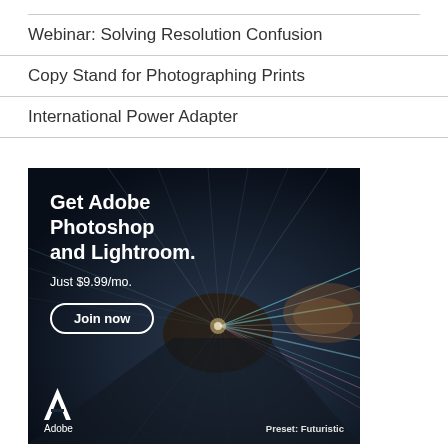Webinar: Solving Resolution Confusion
Copy Stand for Photographing Prints
International Power Adapter
[Figure (illustration): Adobe advertisement with dark futuristic tunnel photo background. Text reads: Get Adobe Photoshop and Lightroom. Just $9.99/mo. Join now button. Adobe logo and 'Preset: Futuristic' label at bottom.]